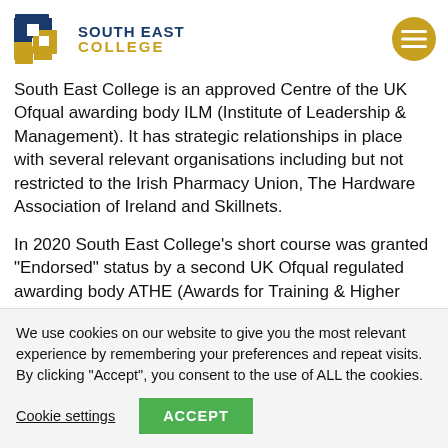South East College
South East College is an approved Centre of the UK Ofqual awarding body ILM (Institute of Leadership & Management). It has strategic relationships in place with several relevant organisations including but not restricted to the Irish Pharmacy Union, The Hardware Association of Ireland and Skillnets.
In 2020 South East College’s short course was granted “Endorsed” status by a second UK Ofqual regulated awarding body ATHE (Awards for Training & Higher
We use cookies on our website to give you the most relevant experience by remembering your preferences and repeat visits. By clicking “Accept”, you consent to the use of ALL the cookies.
Cookie settings
ACCEPT